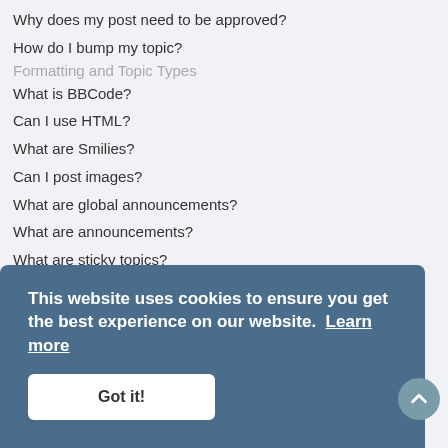Why does my post need to be approved?
How do I bump my topic?
Formatting and Topic Types
What is BBCode?
Can I use HTML?
What are Smilies?
Can I post images?
What are global announcements?
What are announcements?
What are sticky topics?
What are locked topics?
What are topic icons?
User Levels and Groups
What are Administrators?
What are Moderators?
What are usergroups?
Where are the usergroups and how do I join one?
How do I become a usergroup leader?
Why do some usergroups appear in a different colour?
This website uses cookies to ensure you get the best experience on our website. Learn more
Got it!